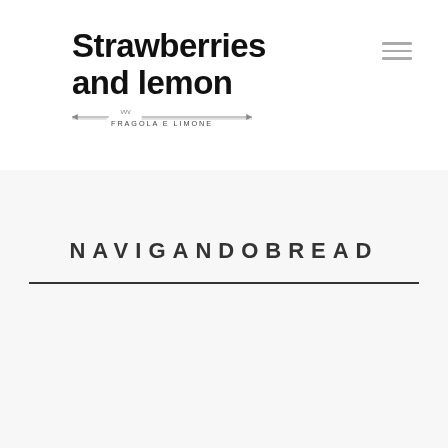Strawberries and lemon — FRAGOLA E LIMONE
NAVIGANDOBREAD